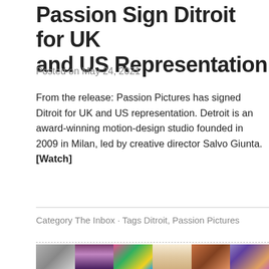Passion Sign Ditroit for UK and US Representation
Posted on May 24, 2021
From the release: Passion Pictures has signed Ditroit for UK and US representation. Detroit is an award-winning motion-design studio founded in 2009 in Milan, led by creative director Salvo Giunta. [Watch]
Category The Inbox · Tags Ditroit, Passion Pictures
[Figure (photo): A horizontal strip of six thumbnail images showing various colorful artistic and motion-design visuals]